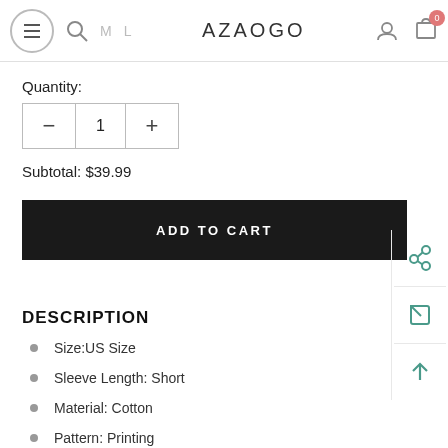AZAOGO navigation header with menu, search, size selectors, logo, account and cart icons
Quantity:
1
Subtotal: $39.99
ADD TO CART
DESCRIPTION
Size:US Size
Sleeve Length: Short
Material: Cotton
Pattern: Printing